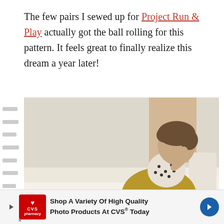The few pairs I sewed up for Project Run & Play actually got the ball rolling for this pattern. It feels great to finally realize this dream a year later!
[Figure (photo): A young toddler girl sitting sideways on a white sofa, wearing a polka-dot top and mustard/olive-yellow skirt with black leggings and red shoes, viewed from behind/side profile, looking toward a window.]
[Figure (other): CVS Pharmacy advertisement banner: 'Shop A Variety Of High Quality Photo Products At CVS Today' with CVS logo and navigation arrows.]